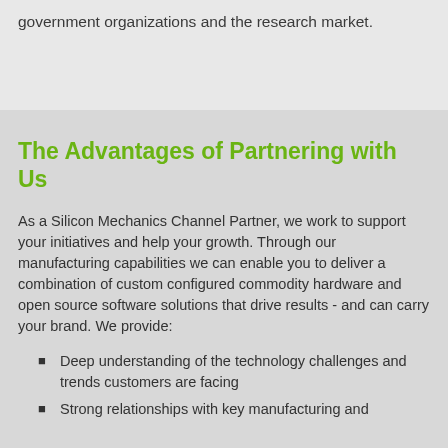government organizations and the research market.
The Advantages of Partnering with Us
As a Silicon Mechanics Channel Partner, we work to support your initiatives and help your growth. Through our manufacturing capabilities we can enable you to deliver a combination of custom configured commodity hardware and open source software solutions that drive results - and can carry your brand. We provide:
Deep understanding of the technology challenges and trends customers are facing
Strong relationships with key manufacturing and